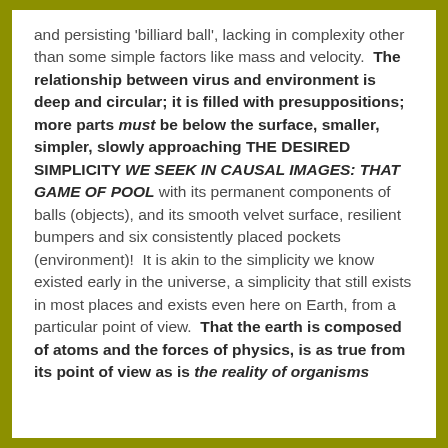and persisting 'billiard ball', lacking in complexity other than some simple factors like mass and velocity.  The relationship between virus and environment is deep and circular; it is filled with presuppositions; more parts must be below the surface, smaller, simpler, slowly approaching THE DESIRED SIMPLICITY WE SEEK IN CAUSAL IMAGES: THAT GAME OF POOL with its permanent components of balls (objects), and its smooth velvet surface, resilient bumpers and six consistently placed pockets (environment)!  It is akin to the simplicity we know existed early in the universe, a simplicity that still exists in most places and exists even here on Earth, from a particular point of view.  That the earth is composed of atoms and the forces of physics, is as true from its point of view as is the reality of organisms